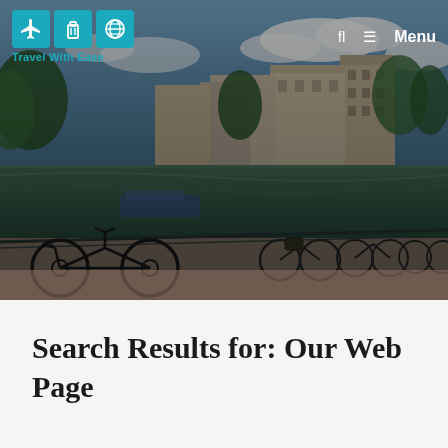[Figure (photo): Amsterdam canal scene with bicycles parked along a railing in the foreground, canal and traditional Dutch buildings in the background, cloudy blue sky. Travel With Ease website header image.]
Travel With Ease   fl   Menu
Search Results for: Our Web Page